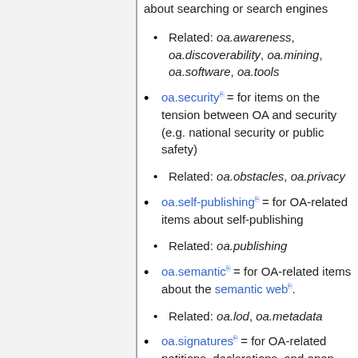about searching or search engines
Related: oa.awareness, oa.discoverability, oa.mining, oa.software, oa.tools
oa.security = for items on the tension between OA and security (e.g. national security or public safety)
Related: oa.obstacles, oa.privacy
oa.self-publishing = for OA-related items about self-publishing
Related: oa.publishing
oa.semantic = for OA-related items about the semantic web.
Related: oa.lod, oa.metadata
oa.signatures = for OA-related petitions, declarations, and open letters collecting signatures
Related: oa.advocacy